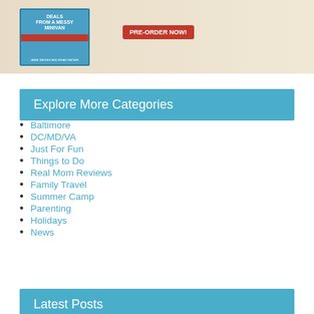[Figure (illustration): Book cover for a book by Jamie Ratner and Brian Ratner, with a blue cover featuring a minivan. A red 'PRE-ORDER NOW!' badge is shown to the right of the book on a tan/beige background.]
Explore More Categories
Baltimore
DC/MD/VA
Just For Fun
Things to Do
Real Mom Reviews
Family Travel
Summer Camp
Parenting
Holidays
News
Latest Posts